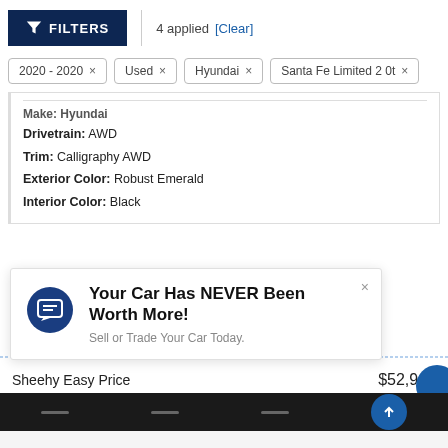FILTERS | 4 applied [Clear]
2020 - 2020 ×
Used ×
Hyundai ×
Santa Fe Limited 2 0t ×
Make: Hyundai
Drivetrain: AWD
Trim: Calligraphy AWD
Exterior Color: Robust Emerald
Interior Color: Black
Your Car Has NEVER Been Worth More!
Sell or Trade Your Car Today.
Sheehy Easy Price    $52,965
This site uses cookies.